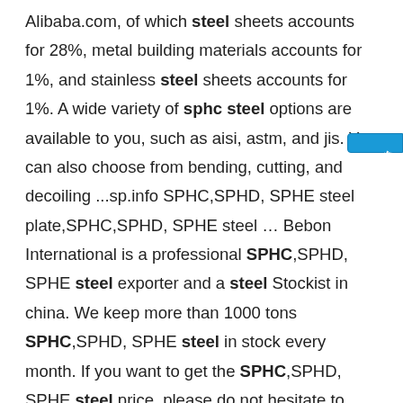Alibaba.com, of which steel sheets accounts for 28%, metal building materials accounts for 1%, and stainless steel sheets accounts for 1%. A wide variety of sphc steel options are available to you, such as aisi, astm, and jis. You can also choose from bending, cutting, and decoiling ...sp.info SPHC,SPHD, SPHE steel plate,SPHC,SPHD, SPHE steel … Bebon International is a professional SPHC,SPHD, SPHE steel exporter and a steel Stockist in china. We keep more than 1000 tons SPHC,SPHD, SPHE steel in stock every month. If you want to get the SPHC,SPHD, SPHE steel price, please do not hesitate to contact us. Any need in SPHC,SPHD, SPHE Chemical Composition and Mechanical Properties, please feel free to …sp.info Steel plate(SPHC SPCC SECC SGCC SGLC Tinplate)- JCG ...May 18, 2021 · Coil, this steel coil is hot rolled steel coil (SPHC), because it is